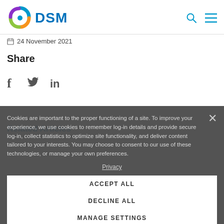[Figure (logo): DSM company logo with colorful swirl icon and blue DSM text, with search and hamburger menu icons on the right]
24 November 2021
Share
[Figure (illustration): Social media share icons: Facebook (f), Twitter (bird), LinkedIn (in)]
Related Articles
Cookies are important to the proper functioning of a site. To improve your experience, we use cookies to remember log-in details and provide secure log-in, collect statistics to optimize site functionality, and deliver content tailored to your interests. You may choose to consent to our use of these technologies, or manage your own preferences.
Privacy
ACCEPT ALL
DECLINE ALL
MANAGE SETTINGS
Early Life